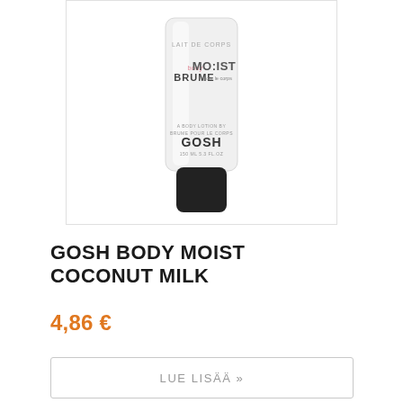[Figure (photo): GOSH Body Moist Coconut Milk body lotion tube product photo. White squeeze tube with black cap, labeled 'LAIT DE CORPS', 'bodyMO:IST BRUME pour le corps', 'A BODY LOTION BY / GOSH / 150 ML 5.3 FL.OZ']
GOSH BODY MOIST COCONUT MILK
4,86 €
LUE LISÄÄ »